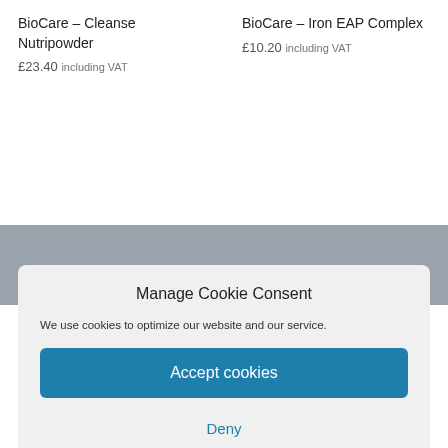BioCare – Cleanse Nutripowder
£23.40 including VAT
BioCare – Iron EAP Complex
£10.20 including VAT
Manage Cookie Consent
We use cookies to optimize our website and our service.
Accept cookies
Deny
View preferences